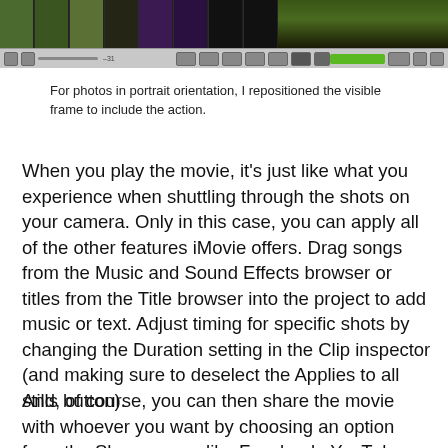[Figure (screenshot): iMovie interface screenshot showing a filmstrip timeline with video clips and a playback control bar at the bottom]
For photos in portrait orientation, I repositioned the visible frame to include the action.
When you play the movie, it’s just like what you experience when shuttling through the shots on your camera. Only in this case, you can apply all of the other features iMovie offers. Drag songs from the Music and Sound Effects browser or titles from the Title browser into the project to add music or text. Adjust timing for specific shots by changing the Duration setting in the Clip inspector (and making sure to deselect the Applies to all stills button).
And, of course, you can then share the movie with whoever you want by choosing an option from the Share menu, like Facebook, YouTube, Vimeo